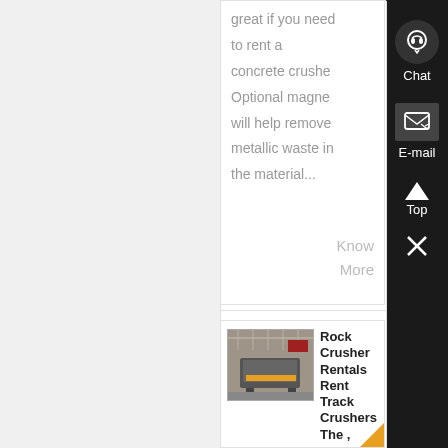great if you need to rent a concrete crusher. Optional magnet will help remove metallic waste in the material...
Know More
[Figure (photo): Industrial rock crusher / screening machine photographed in a large warehouse or manufacturing facility]
Rock Crusher Rentals Rent Track Crushers The ,
Concrete